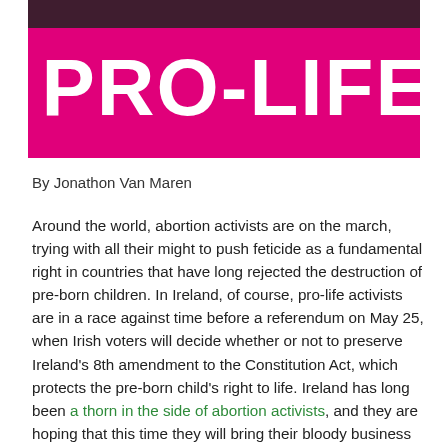[Figure (photo): Photo of people holding a large pink/magenta banner with white text reading 'PRO-LIFE.' at what appears to be a pro-life march or rally.]
By Jonathon Van Maren
Around the world, abortion activists are on the march, trying with all their might to push feticide as a fundamental right in countries that have long rejected the destruction of pre-born children. In Ireland, of course, pro-life activists are in a race against time before a referendum on May 25, when Irish voters will decide whether or not to preserve Ireland's 8th amendment to the Constitution Act, which protects the pre-born child's right to life. Ireland has long been a thorn in the side of abortion activists, and they are hoping that this time they will bring their bloody business to that country as well.